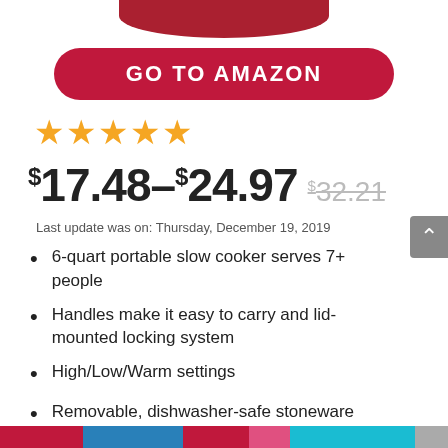[Figure (photo): Top portion of a product (slow cooker) image, cropped, showing dark red lid against white background]
GO TO AMAZON
[Figure (other): 5 gold star rating]
$17.48–$24.97 $32.21
Last update was on: Thursday, December 19, 2019
6-quart portable slow cooker serves 7+ people
Handles make it easy to carry and lid-mounted locking system
High/Low/Warm settings
Removable, dishwasher-safe stoneware insert